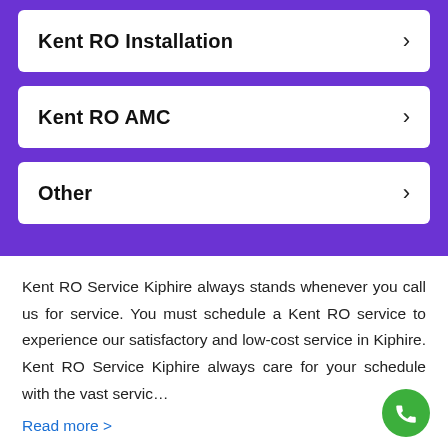Kent RO Installation
Kent RO AMC
Other
Kent RO Service Kiphire always stands whenever you call us for service. You must schedule a Kent RO service to experience our satisfactory and low-cost service in Kiphire. Kent RO Service Kiphire always care for your schedule with the vast servic…
Read more >